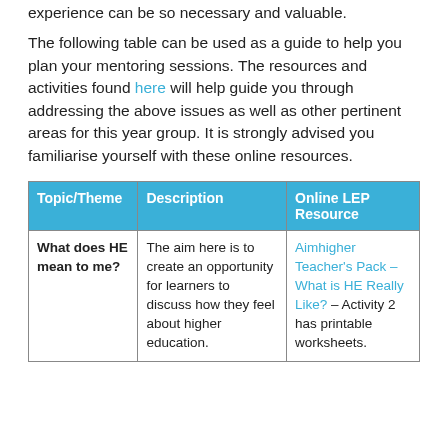experience can be so necessary and valuable.
The following table can be used as a guide to help you plan your mentoring sessions. The resources and activities found here will help guide you through addressing the above issues as well as other pertinent areas for this year group. It is strongly advised you familiarise yourself with these online resources.
| Topic/Theme | Description | Online LEP Resource |
| --- | --- | --- |
| What does HE mean to me? | The aim here is to create an opportunity for learners to discuss how they feel about higher education. | Aimhigher Teacher's Pack – What is HE Really Like? – Activity 2 has printable worksheets. |